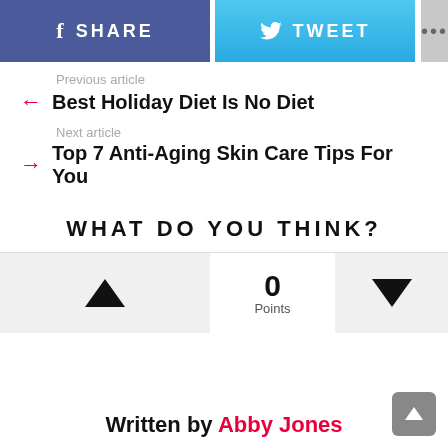[Figure (screenshot): Social share bar with Facebook Share button (blue), Tweet button (light blue), and more options button (gray)]
Previous article
← Best Holiday Diet Is No Diet
Next article
→ Top 7 Anti-Aging Skin Care Tips For You
WHAT DO YOU THINK?
[Figure (infographic): Voting widget with upvote button, 0 Points, and downvote button]
Written by Abby Jones